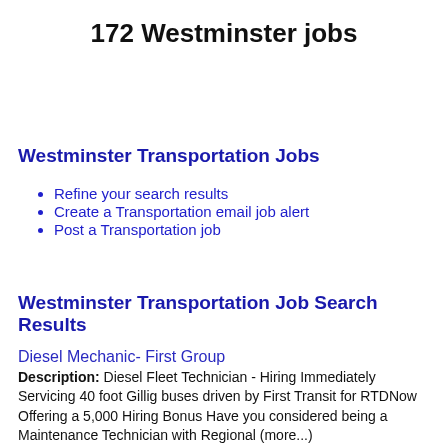172 Westminster jobs
Westminster Transportation Jobs
Refine your search results
Create a Transportation email job alert
Post a Transportation job
Westminster Transportation Job Search Results
Diesel Mechanic- First Group
Description: Diesel Fleet Technician - Hiring Immediately Servicing 40 foot Gillig buses driven by First Transit for RTDNow Offering a 5,000 Hiring Bonus Have you considered being a Maintenance Technician with Regional (more...)